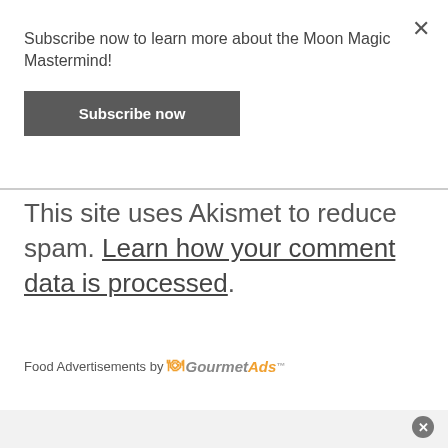×
Subscribe now to learn more about the Moon Magic Mastermind!
Subscribe now
This site uses Akismet to reduce spam. Learn how your comment data is processed.
Food Advertisements by GourmetAds™